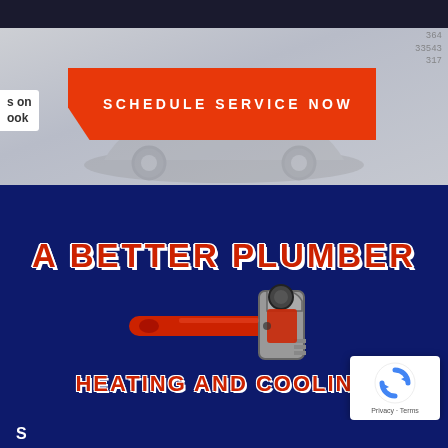[Figure (screenshot): Top section with gray background, dark banner, car silhouette watermark, Facebook tag on left, numbers overlay top right]
SCHEDULE SERVICE NOW
[Figure (logo): A Better Plumber Heating and Cooling logo with red pipe wrench on dark navy background]
A BETTER PLUMBER
HEATING AND COOLING
[Figure (logo): reCAPTCHA badge with Privacy and Terms text]